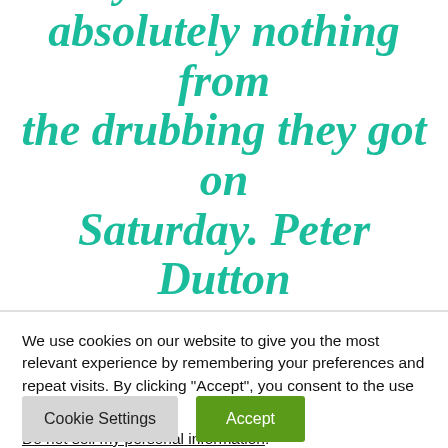elevation would show they have learned absolutely nothing from the drubbing they got on Saturday. Peter Dutton has all of the same characteristics that
We use cookies on our website to give you the most relevant experience by remembering your preferences and repeat visits. By clicking “Accept”, you consent to the use of ALL the cookies.
Do not sell my personal information.